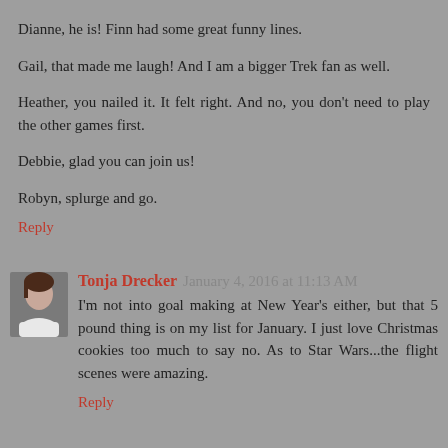Dianne, he is! Finn had some great funny lines.
Gail, that made me laugh! And I am a bigger Trek fan as well.
Heather, you nailed it. It felt right. And no, you don't need to play the other games first.
Debbie, glad you can join us!
Robyn, splurge and go.
Reply
Tonja Drecker  January 4, 2016 at 11:13 AM
I'm not into goal making at New Year's either, but that 5 pound thing is on my list for January. I just love Christmas cookies too much to say no. As to Star Wars...the flight scenes were amazing.
Reply